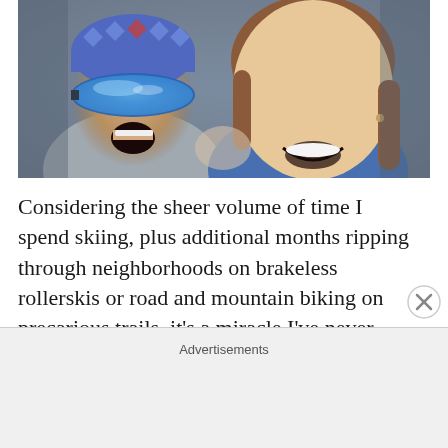[Figure (photo): Two smiling people taking a selfie in what appears to be a vehicle. The person on the left is wearing a blue patterned beanie hat and blue mirrored ski goggles, laughing with mouth open, wearing a grey hoodie. The person on the right is a woman with brown hair pulled back, smiling broadly, wearing a blue top.]
Considering the sheer volume of time I spend skiing, plus additional months ripping through neighborhoods on brakeless rollerskis or road and mountain biking on precarious trails, it's a miracle I've never broken a bone in my 30 years. Throw in my decades-long basketball career and it becomes all the more
Advertisements